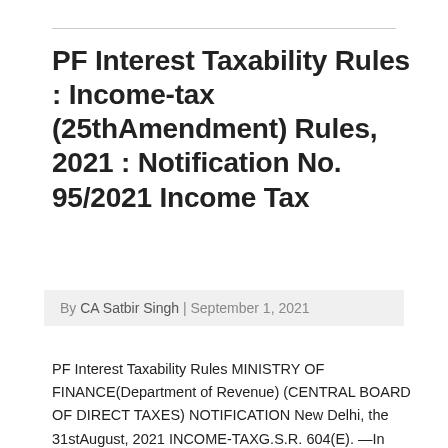PF Interest Taxability Rules : Income-tax (25thAmendment) Rules, 2021 : Notification No. 95/2021 Income Tax
By CA Satbir Singh | September 1, 2021
PF Interest Taxability Rules MINISTRY OF FINANCE(Department of Revenue) (CENTRAL BOARD OF DIRECT TAXES) NOTIFICATION New Delhi, the 31stAugust, 2021 INCOME-TAXG.S.R. 604(E). —In exercise of the powers conferred by the first proviso to clause (11) of section 10 and the first proviso to clause (12) of section 10 read with section 295 of the Income-tax… Read More »